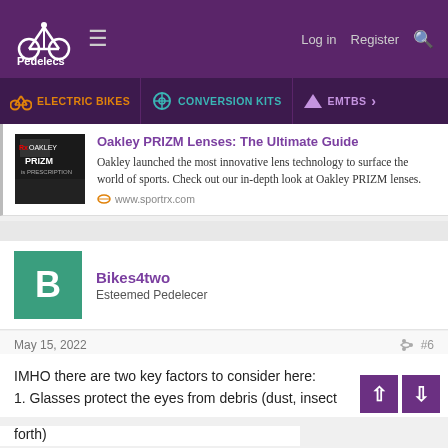Pedelecs | Log in | Register
ELECTRIC BIKES | CONVERSION KITS | EMTBS
[Figure (screenshot): Ad card for Oakley PRIZM lenses with thumbnail image]
Oakley PRIZM Lenses: The Ultimate Guide
Oakley launched the most innovative lens technology to surface the world of sports. Check out our in-depth look at Oakley PRIZM lenses.
www.sportrx.com
Bikes4two
Esteemed Pedelecer
May 15, 2022 #6
IMHO there are two key factors to consider here:
1. Glasses protect the eyes from debris (dust, insects and forth)